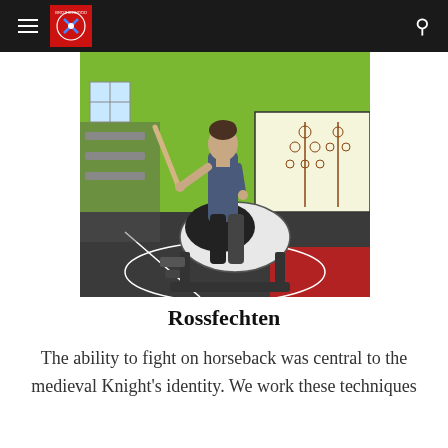Navigation header with hamburger menu, logo, and search icon
[Figure (photo): A woman in athletic wear sitting on a wooden practice horse/saddle apparatus, holding a wooden sword (waster), in a martial arts training gym with green walls, diagrams on the wall, and training mats on the floor.]
Rossfechten
The ability to fight on horseback was central to the medieval Knight's identity. We work these techniques